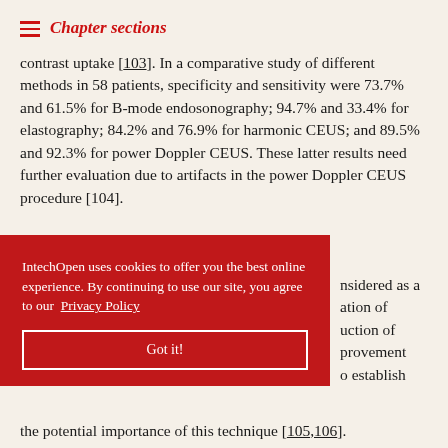Chapter sections
contrast uptake [103]. In a comparative study of different methods in 58 patients, specificity and sensitivity were 73.7% and 61.5% for B-mode endosonography; 94.7% and 33.4% for elastography; 84.2% and 76.9% for harmonic CEUS; and 89.5% and 92.3% for power Doppler CEUS. These latter results need further evaluation due to artifacts in the power Doppler CEUS procedure [104].
...nsidered as a ...ation of ...uction of ...provement ...o establish ...the potential importance of this technique [105,106].